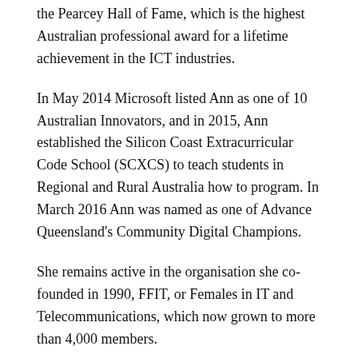the Pearcey Hall of Fame, which is the highest Australian professional award for a lifetime achievement in the ICT industries.
In May 2014 Microsoft listed Ann as one of 10 Australian Innovators, and in 2015, Ann established the Silicon Coast Extracurricular Code School (SCXCS) to teach students in Regional and Rural Australia how to program. In March 2016 Ann was named as one of Advance Queensland's Community Digital Champions.
She remains active in the organisation she co-founded in 1990, FFIT, or Females in IT and Telecommunications, which now grown to more than 4,000 members.